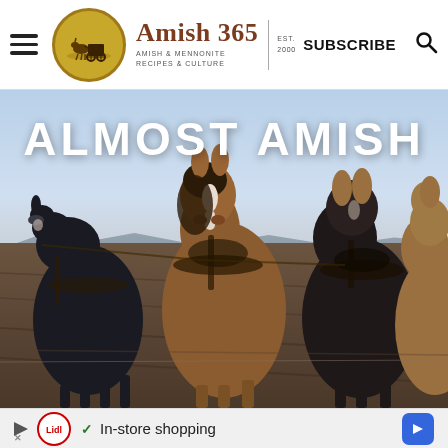Amish 365 – AMISH & MENNONITE RECIPES & CULTURE | EST. 2000 | SUBSCRIBE
[Figure (photo): Photo of multiple draft horses in harness standing in a plowed field with blue sky background, with white bold text overlay reading ALMOST AMISH]
[Figure (other): Advertisement bar with Lidl logo, checkmark, text 'In-store shopping', and navigation arrow button]